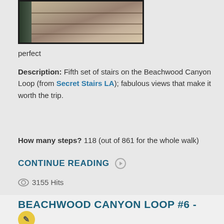[Figure (photo): Photo of outdoor stone stairs with iron railing and vegetation, partially cropped at top]
perfect
Description: Fifth set of stairs on the Beachwood Canyon Loop (from Secret Stairs LA); fabulous views that make it worth the trip.
How many steps? 118 (out of 861 for the whole walk)
CONTINUE READING ▶
👁 3155 Hits
BEACHWOOD CANYON LOOP #6 - UPPER BELDEN
VIEW LEGEND